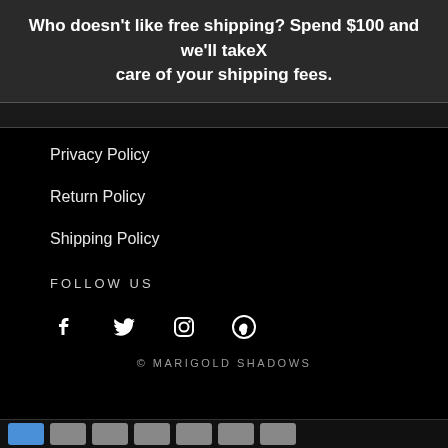Who doesn't like free shipping? Spend $100 and we'll takeX care of your shipping fees.
Privacy Policy
Return Policy
Shipping Policy
FOLLOW US
[Figure (infographic): Social media icons: Facebook, Twitter, Instagram, Pinterest]
© MARIGOLD SHADOWS
Payment method icons row